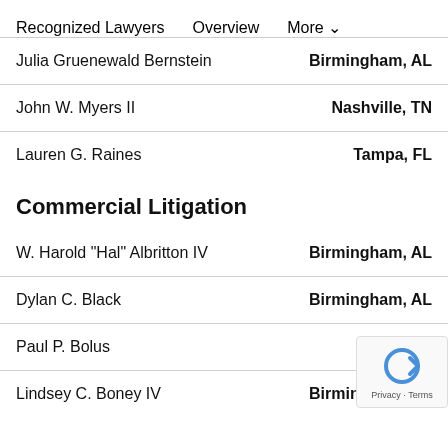Recognized Lawyers  Overview  More
Julia Gruenewald Bernstein — Birmingham, AL
John W. Myers II — Nashville, TN
Lauren G. Raines — Tampa, FL
Commercial Litigation
W. Harold "Hal" Albritton IV — Birmingham, AL
Dylan C. Black — Birmingham, AL
Paul P. Bolus — Birmingham, AL
Lindsey C. Boney IV — Birmingham, AL